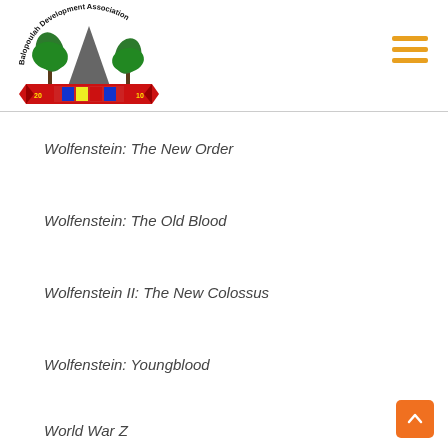Balopoulah Development Association logo and navigation
Wolfenstein: The New Order
Wolfenstein: The Old Blood
Wolfenstein II: The New Colossus
Wolfenstein: Youngblood
World War Z